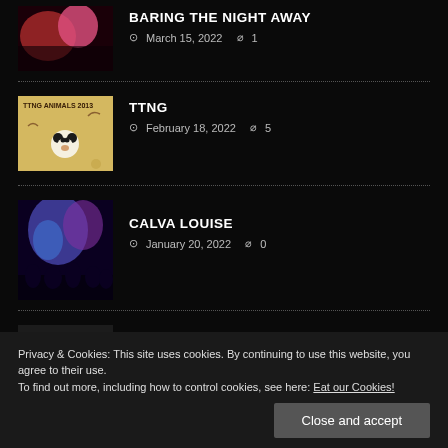[Figure (photo): Partial view of a concert/performance photo with red/pink stage lighting]
BARING THE NIGHT AWAY
March 15, 2022  1
[Figure (photo): TTNG Animals 2013 album cover with illustrated animals including a panda]
TTNG
February 18, 2022  5
[Figure (photo): Concert photo with purple/blue stage lighting, silhouettes of crowd in foreground]
CALVA LOUISE
January 20, 2022  0
[Figure (photo): Group photo of Wych Elm band members against dark background]
WYCH ELM
January 4, 2022  0
Privacy & Cookies: This site uses cookies. By continuing to use this website, you agree to their use.
To find out more, including how to control cookies, see here: Eat our Cookies!
Close and accept